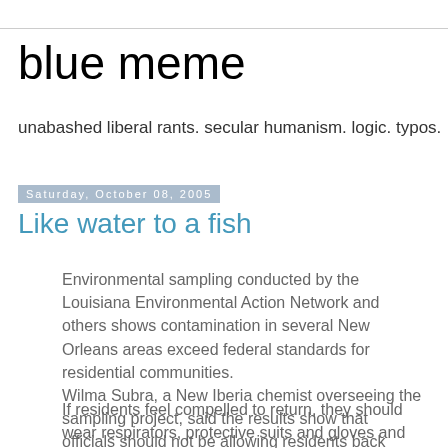blue meme
unabashed liberal rants. secular humanism. logic. typos.
Saturday, October 08, 2005
Like water to a fish
Environmental sampling conducted by the Louisiana Environmental Action Network and others shows contamination in several New Orleans areas exceed federal standards for residential communities. Wilma Subra, a New Iberia chemist overseeing the sampling project, said the results show that officials should not be allowing residents back home.
If residents feel compelled to return, they should wear respirators, protective suits and gloves and